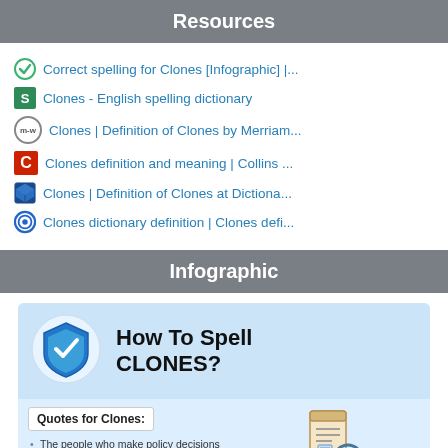Resources
Correct spelling for Clones [Infographic] |...
Clones - English spelling dictionary
Clones | Definition of Clones by Merriam...
Clones definition and meaning | Collins ...
Clones | Definition of Clones at Dictiona...
Clones dictionary definition | Clones defi...
Infographic
[Figure (infographic): How To Spell CLONES infographic with a shield checkmark icon, Quotes for Clones section with quote text, and List of misspellings for Clones section with a document/magnifying glass icon]